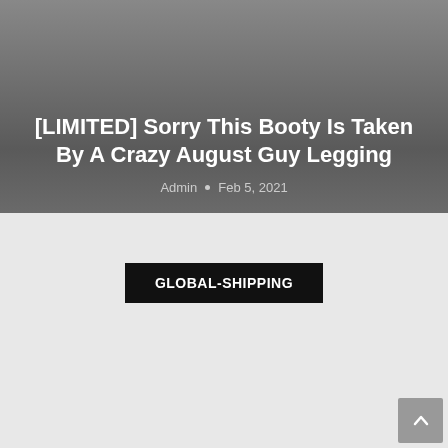[Figure (photo): Dark gray gradient hero image background]
[LIMITED] Sorry This Booty Is Taken By A Crazy August Guy Legging
Admin • Feb 5, 2021
GLOBAL-SHIPPING
[Figure (other): Scroll to top button with upward arrow in bottom right corner]